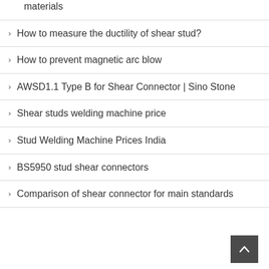ISO14555: Welding — Arc stud welding of metallic materials
How to measure the ductility of shear stud?
How to prevent magnetic arc blow
AWSD1.1 Type B for Shear Connector | Sino Stone
Shear studs welding machine price
Stud Welding Machine Prices India
BS5950 stud shear connectors
Comparison of shear connector for main standards